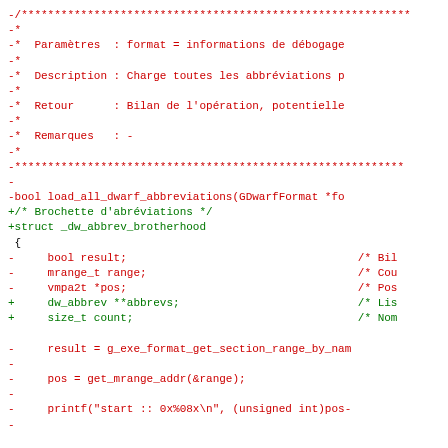Diff code block showing removal and addition of C source code related to DWARF abbreviation loading. Red lines (prefixed with -) show removed code including a function comment block and function signature. Green lines (prefixed with +) show added struct definition and modified struct members.